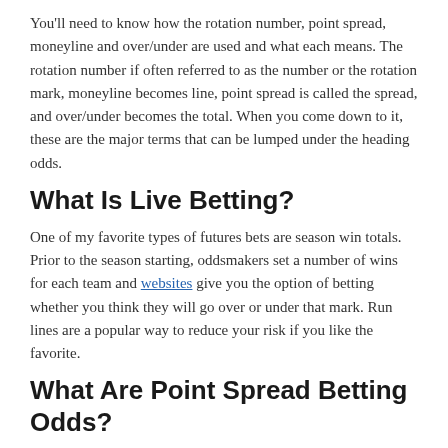You'll need to know how the rotation number, point spread, moneyline and over/under are used and what each means. The rotation number if often referred to as the number or the rotation mark, moneyline becomes line, point spread is called the spread, and over/under becomes the total. When you come down to it, these are the major terms that can be lumped under the heading odds.
What Is Live Betting?
One of my favorite types of futures bets are season win totals. Prior to the season starting, oddsmakers set a number of wins for each team and websites give you the option of betting whether you think they will go over or under that mark. Run lines are a popular way to reduce your risk if you like the favorite.
What Are Point Spread Betting Odds?
Thus, the higher the number's value, the better the odds of the bet winning. A negative (-) sign represents the favorite, while a positive (+) sign for underdogs. The number is the amount you must wager to win $100 if you bet on the favorites.